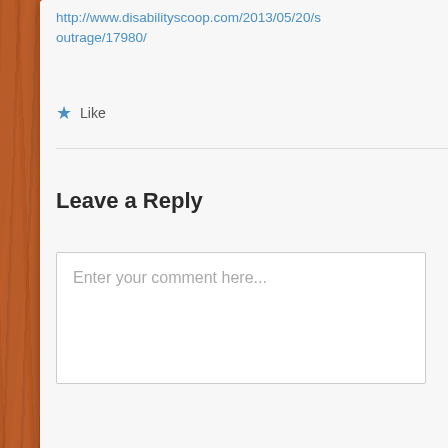http://www.disabilityscoop.com/2013/05/20/s outrage/17980/
Like
Leave a Reply
Enter your comment here...